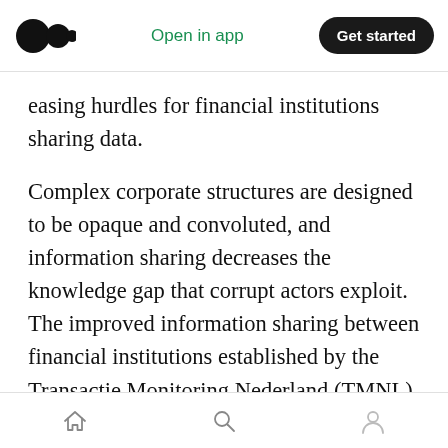Open in app | Get started
easing hurdles for financial institutions sharing data.
Complex corporate structures are designed to be opaque and convoluted, and information sharing decreases the knowledge gap that corrupt actors exploit. The improved information sharing between financial institutions established by the Transactie Monitoring Nederland (TMNL) and further enabled by the new bill will reveal the full extent of financial activities, exposing unusual patterns more efficiently than banks acting alone
Home | Search | Profile